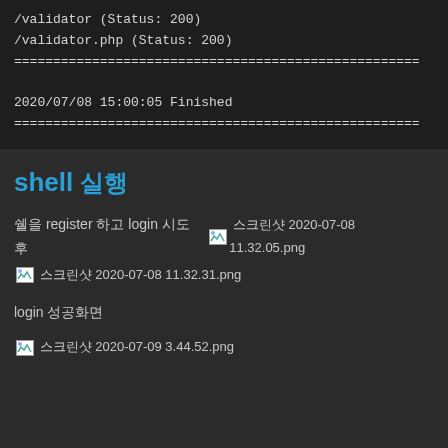[Figure (screenshot): Terminal output showing /validator (Status: 200), /validator.php (Status: 200), separator line of equals signs, timestamp 2020/07/08 15:00:05 Finished, and another separator line of equals signs]
shell 실행
쉘을 register 하고 login 시도후 스크린샷 2020-07-08 11.32.05.png
스크린샷 2020-07-08 11.32.31.png
login 성공화면
스크린샷 2020-07-09 3.44.52.png